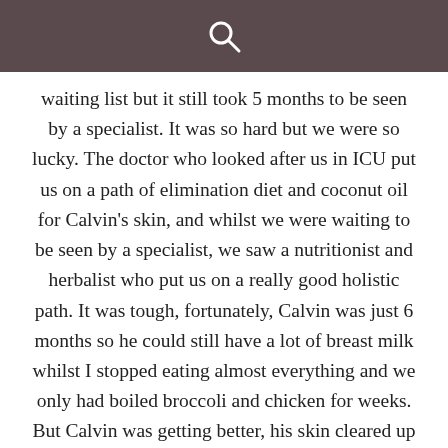[Figure (other): Dark brownish-purple header bar with a white magnifying glass search icon centered within it]
waiting list but it still took 5 months to be seen by a specialist. It was so hard but we were so lucky. The doctor who looked after us in ICU put us on a path of elimination diet and coconut oil for Calvin's skin, and whilst we were waiting to be seen by a specialist, we saw a nutritionist and herbalist who put us on a really good holistic path. It was tough, fortunately, Calvin was just 6 months so he could still have a lot of breast milk whilst I stopped eating almost everything and we only had boiled broccoli and chicken for weeks. But Calvin was getting better, his skin cleared up and he was happy and healthy. It was all worth it. Slowly, we could start reintroducing foods. The diet for both me and him had been...